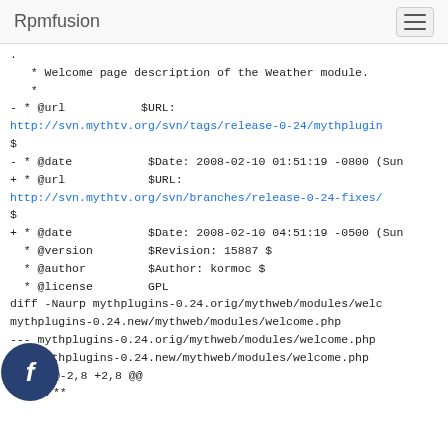Rpmfusion
* Welcome page description of the Weather module.
   *
- * @url           $URL:
http://svn.mythtv.org/svn/tags/release-0-24/mythplugins/...
$
- * @date           $Date: 2008-02-10 01:51:19 -0800 (Sun
+ * @url            $URL:
http://svn.mythtv.org/svn/branches/release-0-24-fixes/...
$
+ * @date           $Date: 2008-02-10 04:51:19 -0500 (Sun
  * @version        $Revision: 15887 $
  * @author         $Author: kormoc $
  * @license        GPL
diff -Naurp mythplugins-0.24.orig/mythweb/modules/welcome...
mythplugins-0.24.new/mythweb/modules/welcome.php
--- mythplugins-0.24.orig/mythweb/modules/welcome.php
+++ mythplugins-0.24.new/mythweb/modules/welcome.php
@@-2,8 +2,8 @@
/**